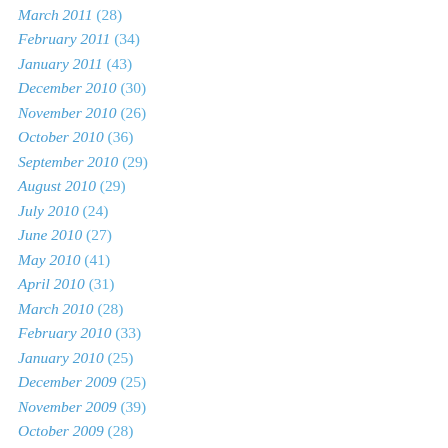March 2011 (28)
February 2011 (34)
January 2011 (43)
December 2010 (30)
November 2010 (26)
October 2010 (36)
September 2010 (29)
August 2010 (29)
July 2010 (24)
June 2010 (27)
May 2010 (41)
April 2010 (31)
March 2010 (28)
February 2010 (33)
January 2010 (25)
December 2009 (25)
November 2009 (39)
October 2009 (28)
September 2009 (46)
August 2009 (50)